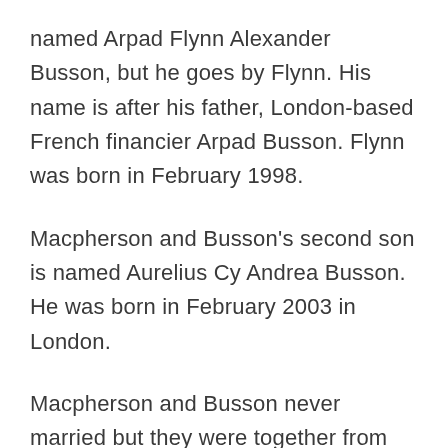named Arpad Flynn Alexander Busson, but he goes by Flynn. His name is after his father, London-based French financier Arpad Busson. Flynn was born in February 1998.
Macpherson and Busson's second son is named Aurelius Cy Andrea Busson. He was born in February 2003 in London.
Macpherson and Busson never married but they were together from 1996 until July 2005. They lived in London while they were together.